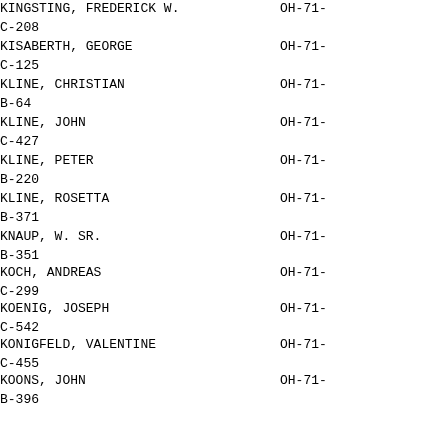KINGSTING, FREDERICK W.    OH-71-
C-208
KISABERTH, GEORGE          OH-71-
C-125
KLINE, CHRISTIAN           OH-71-
B-64
KLINE, JOHN                OH-71-
C-427
KLINE, PETER               OH-71-
B-220
KLINE, ROSETTA             OH-71-
B-371
KNAUP, W. SR.              OH-71-
B-351
KOCH, ANDREAS              OH-71-
C-299
KOENIG, JOSEPH             OH-71-
C-542
KONIGFELD, VALENTINE       OH-71-
C-455
KOONS, JOHN                OH-71-
B-396
KROTZER, PETER             OH-71-
C-447
LANG, CHARLES H. M.        OH-71-
C-354
LANTZ, HENRY               OH-71-
C-473
LAPOINT, GABRIEL           OH-71-
A-182
LARKINS, PATRICK           OH-71-